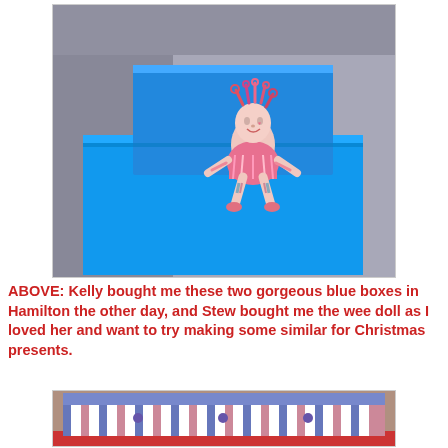[Figure (photo): A stuffed cloth doll with colorful hair sitting on top of two bright blue gift boxes on a couch]
ABOVE:  Kelly bought me these two gorgeous blue boxes in Hamilton the other day, and Stew bought me the wee doll as I loved her and want to try making some similar for Christmas presents.
[Figure (photo): A decorative box or storage unit with a blue top panel and striped sides in blue, white, and pink, with small knobs]